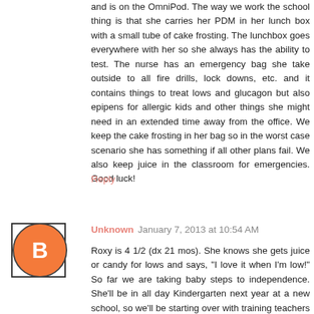and is on the OmniPod. The way we work the school thing is that she carries her PDM in her lunch box with a small tube of cake frosting. The lunchbox goes everywhere with her so she always has the ability to test. The nurse has an emergency bag she take outside to all fire drills, lock downs, etc. and it contains things to treat lows and glucagon but also epipens for allergic kids and other things she might need in an extended time away from the office. We keep the cake frosting in her bag so in the worst case scenario she has something if all other plans fail. We also keep juice in the classroom for emergencies. Good luck!
Reply
Unknown  January 7, 2013 at 10:54 AM
Roxy is 4 1/2 (dx 21 mos). She knows she gets juice or candy for lows and says, "I love it when I'm low!" So far we are taking baby steps to independence. She'll be in all day Kindergarten next year at a new school, so we'll be starting over with training teachers on her care. We'll see how much she wants to be involved. It's great to read this, though, to start thinking of how to handle some of these